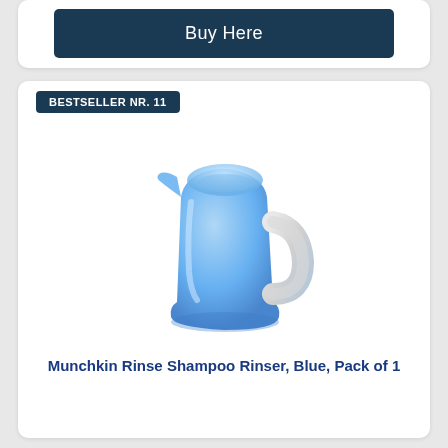[Figure (logo): Amazon Prime logo with orange checkmark and blue italic 'Prime' text]
Buy Here
BESTSELLER NR. 11
[Figure (photo): A blue translucent plastic shampoo rinser/cup with a handle, facing slightly left, product photo on white background]
Munchkin Rinse Shampoo Rinser, Blue, Pack of 1